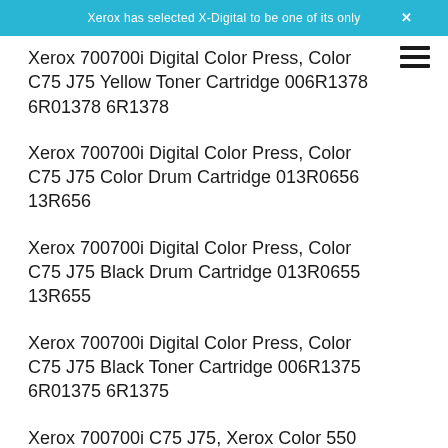Xerox has selected X-Digital to be one of its only
Xerox 700700i Digital Color Press, Color C75 J75 Yellow Toner Cartridge 006R1378 6R01378 6R1378
Xerox 700700i Digital Color Press, Color C75 J75 Color Drum Cartridge 013R0656 13R656
Xerox 700700i Digital Color Press, Color C75 J75 Black Drum Cartridge 013R0655 13R655
Xerox 700700i Digital Color Press, Color C75 J75 Black Toner Cartridge 006R1375 6R01375 6R1375
Xerox 700700i C75 J75, Xerox Color 550 560 C60 C70 Yellow Developer 5R733 505S00033